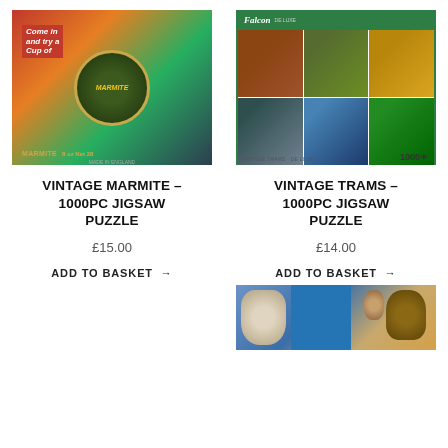[Figure (photo): Vintage Marmite jigsaw puzzle box showing collage of old Marmite advertisements and branding]
[Figure (photo): Falcon 1000-piece Vintage Trams jigsaw puzzle box showing six panels of historical tram images]
VINTAGE MARMITE – 1000PC JIGSAW PUZZLE
VINTAGE TRAMS – 1000PC JIGSAW PUZZLE
£15.00
£14.00
ADD TO BASKET →
ADD TO BASKET →
[Figure (photo): Partial view of another jigsaw puzzle showing costumed characters and a dog in front of a blue door]